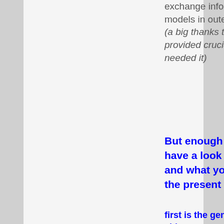exchange information between models in outerra. (a big thanks to andfly who provided crucial input when I most needed it)
But enough of words ... lets have a look on what you get and what you can do with the present mod.
first is the general presentation video: